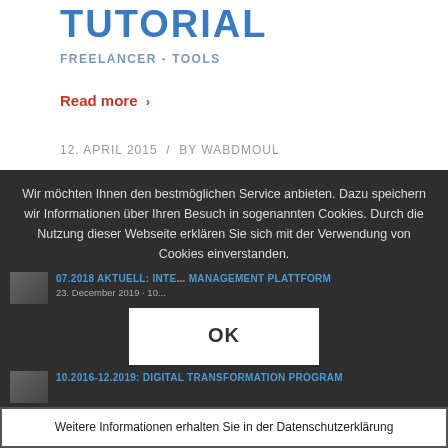TUTORIAL
FREELANCER - TOOLS
Read more >
12. APRIL 2015  /  BY WABDMOUL
Wir möchten Ihnen den bestmöglichen Service anbieten. Dazu speichern wir Informationen über Ihren Besuch in sogenannten Cookies. Durch die Nutzung dieser Webseite erklären Sie sich mit der Verwendung von Cookies einverstanden.
OK
07.2018 Aktuell: Inte... Management Plattform
23. December 2019 · 10...
10.2016-12.2019: DIGITAL TRANSFORMATION PROGRAM
Weitere Informationen erhalten Sie in der Datenschutzerklärung